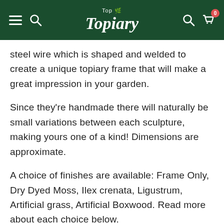Top Topiary
steel wire which is shaped and welded to create a unique topiary frame that will make a great impression in your garden.
Since they're handmade there will naturally be small variations between each sculpture, making yours one of a kind! Dimensions are approximate.
A choice of finishes are available: Frame Only, Dry Dyed Moss, Ilex crenata, Ligustrum, Artificial grass, Artificial Boxwood. Read more about each choice below.
Please Note, often, the 'Frame Only' and 'Dry Dyed